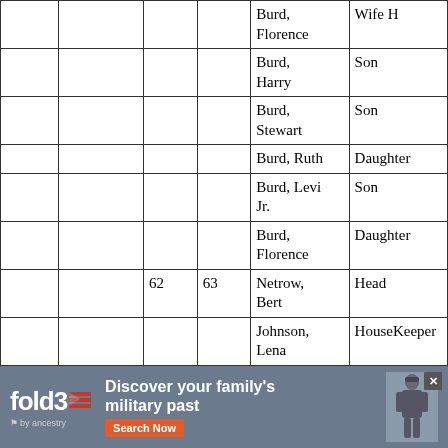|  |  |  |  | Name | Relationship |
| --- | --- | --- | --- | --- | --- |
|  |  |  |  | Burd, Florence | Wife H |
|  |  |  |  | Burd, Harry | Son |
|  |  |  |  | Burd, Stewart | Son |
|  |  |  |  | Burd, Ruth | Daughter |
|  |  |  |  | Burd, Levi Jr. | Son |
|  |  |  |  | Burd, Florence | Daughter |
|  |  | 62 | 63 | Netrow, Bert | Head |
|  |  |  |  | Johnson, Lena | HouseKeeper |
|  |  |  |  | Van Vleeck, Aurthur | Boarder |
[Figure (other): fold3 by Ancestry advertisement banner — 'Discover your family's military past' with Search Now button and soldier silhouette image]